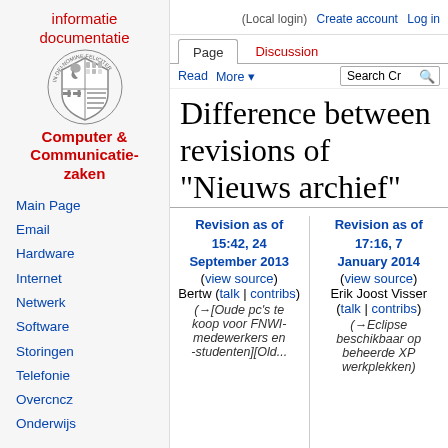(Local login)  Create account  Log in
[Figure (logo): Informatie documentatie Computer & Communicatie-zaken wiki logo with shield emblem]
Main Page
Email
Hardware
Internet
Netwerk
Software
Storingen
Telefonie
Overcncz
Onderwijs
doelgroep
Studenten
Docenten
Difference between revisions of "Nieuws archief"
| Revision as of 15:42, 24 September 2013 | Revision as of 17:16, 7 January 2014 |
| --- | --- |
| (view source) | (view source) |
| Bertw (talk | contribs) | Erik Joost Visser (talk | contribs) |
| (→[Oude pc's te koop voor FNWI-medewerkers en -studenten][Old... | (→Eclipse beschikbaar op beheerde XP werkplekken) |